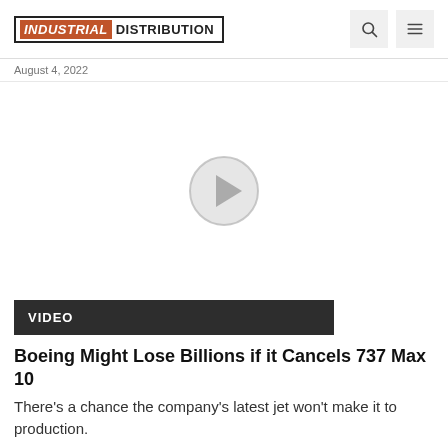INDUSTRIAL DISTRIBUTION
August 4, 2022
[Figure (screenshot): Video player with white background and a circular play button in the center]
VIDEO
Boeing Might Lose Billions if it Cancels 737 Max 10
There's a chance the company's latest jet won't make it to production.